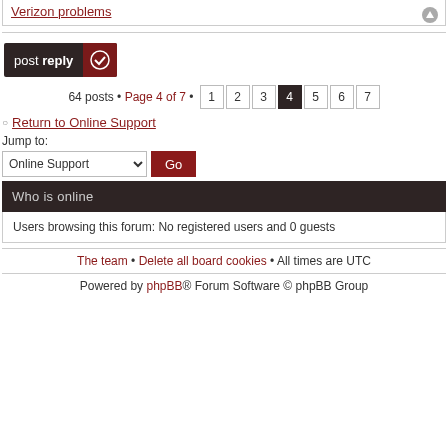Verizon problems (link)
post reply button
64 posts • Page 4 of 7 • 1 2 3 4 5 6 7
Return to Online Support
Jump to:
Online Support [Go]
Who is online
Users browsing this forum: No registered users and 0 guests
The team • Delete all board cookies • All times are UTC
Powered by phpBB® Forum Software © phpBB Group